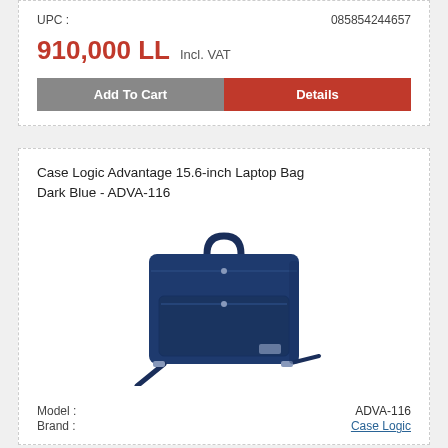UPC : 085854244657
910,000 LL  Incl. VAT
Add To Cart | Details
Case Logic Advantage 15.6-inch Laptop Bag Dark Blue - ADVA-116
[Figure (photo): Dark blue Case Logic Advantage 15.6-inch laptop bag with top handle and shoulder strap, front pocket visible]
Model : ADVA-116
Brand : Case Logic